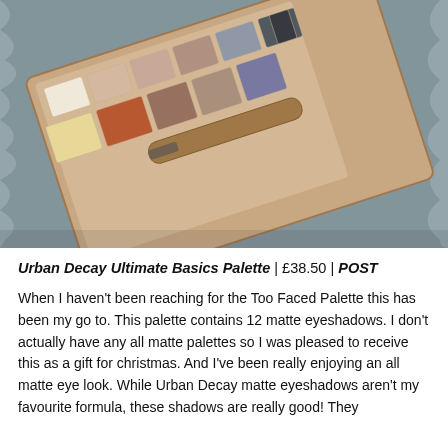[Figure (photo): An Urban Decay Ultimate Basics Palette with eyeshadows in neutral and warm tones, placed on a grey fur surface. The palette is open showing rows of matte eyeshadows ranging from cream, nude, taupe, terra cotta, rust, brown to grey and charcoal shades, with a brush included.]
Urban Decay Ultimate Basics Palette | £38.50 | POST
When I haven't been reaching for the Too Faced Palette this has been my go to. This palette contains 12 matte eyeshadows. I don't actually have any all matte palettes so I was pleased to receive this as a gift for christmas. And I've been really enjoying an all matte eye look. While Urban Decay matte eyeshadows aren't my favourite formula, these shadows are really good! They